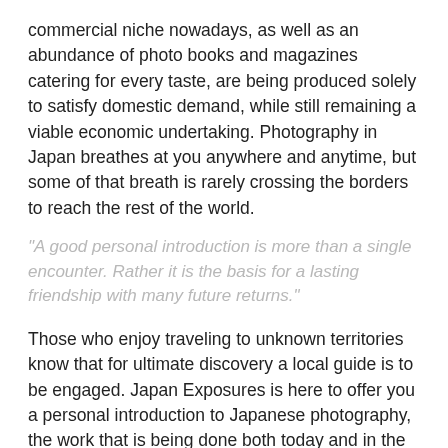commercial niche nowadays, as well as an abundance of photo books and magazines catering for every taste, are being produced solely to satisfy domestic demand, while still remaining a viable economic undertaking. Photography in Japan breathes at you anywhere and anytime, but some of that breath is rarely crossing the borders to reach the rest of the world.
"A good personal introduction is more than a single encounter. Rather it is the basis for a lasting friendship with many future returns."
Those who enjoy traveling to unknown territories know that for ultimate discovery a local guide is to be engaged. Japan Exposures is here to offer you a personal introduction to Japanese photography, the work that is being done both today and in the past, and the people and means used to produce them. And a good personal introduction is more than a single encounter. Rather it is the basis for a lasting friendship with